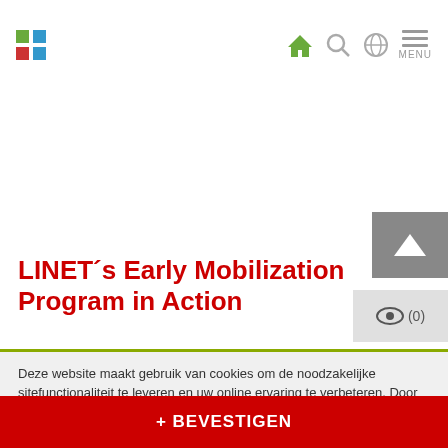LINET website header with logo and navigation icons (home, search, globe, menu)
LINET´s Early Mobilization Program in Action
Deze website maakt gebruik van cookies om de noodzakelijke sitefunctionaliteit te leveren en uw online ervaring te verbeteren. Door gebruik te maken van deze website gaat u akkoord met het gebruik van cookies zoals beschreven in de online privacy verklaring van wissner-bosserhoff. Meer of onze privacy verklaring
+ BEVESTIGEN